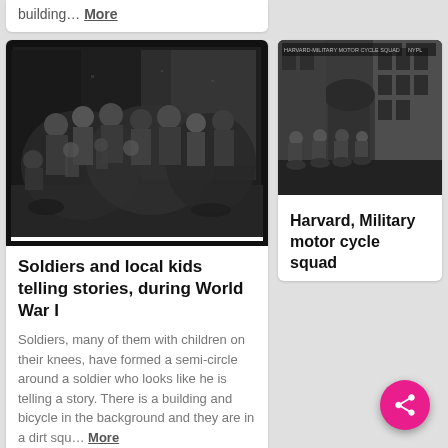building… More
[Figure (photo): Black and white historical photo of soldiers and local children sitting together in a group outdoors, forming a semi-circle, with a building in the background. Heavy black border frame.]
Soldiers and local kids telling stories, during World War I
Soldiers, many of them with children on their knees, have formed a semi-circle around a soldier who looks like he is telling a story. There is a building and bicycle in the background and they are in a dirt squ... More
[Figure (photo): Black and white historical photo of a Harvard military motor cycle squad, soldiers on motorcycles lined up in front of a building on a street.]
Harvard, Military motor cycle squad